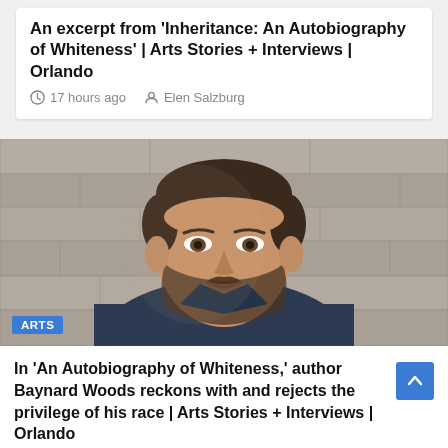An excerpt from 'Inheritance: An Autobiography of Whiteness' | Arts Stories + Interviews | Orlando
17 hours ago   Elen Salzburg
[Figure (photo): Portrait photo of a middle-aged man with short dark hair and a beard, wearing a dark blue jacket, seated in front of a stone/concrete wall. An 'ARTS' badge appears in the lower left corner.]
In 'An Autobiography of Whiteness,' author Baynard Woods reckons with and rejects the privilege of his race | Arts Stories + Interviews | Orlando